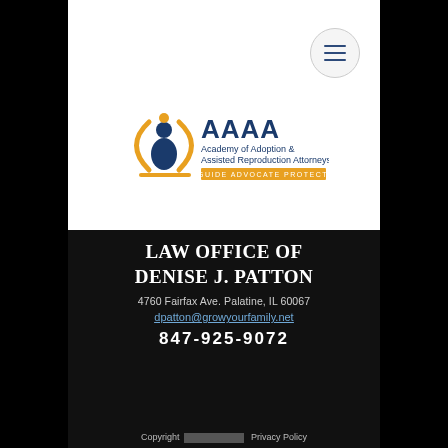[Figure (other): Hamburger menu button (three horizontal lines) in a circle]
[Figure (logo): AAAA Academy of Adoption & Assisted Reproduction Attorneys logo with tagline GUIDE ADVOCATE PROTECT]
LAW OFFICE OF DENISE J. PATTON
4760 Fairfax Ave. Palatine, IL 60067
dpatton@growyourfamily.net
847-925-9072
Copyright [redacted] Privacy Policy